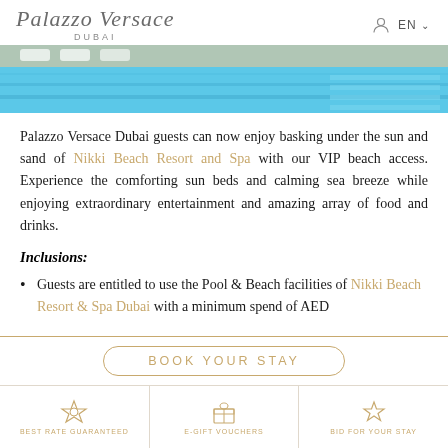Palazzo Versace DUBAI — EN
[Figure (photo): Aerial view of a luxury pool and beach area with sun loungers and turquoise water]
Palazzo Versace Dubai guests can now enjoy basking under the sun and sand of Nikki Beach Resort and Spa with our VIP beach access. Experience the comforting sun beds and calming sea breeze while enjoying extraordinary entertainment and amazing array of food and drinks.
Inclusions:
Guests are entitled to use the Pool & Beach facilities of Nikki Beach Resort & Spa Dubai with a minimum spend of AED
BOOK YOUR STAY
BEST RATE GUARANTEED | E-GIFT VOUCHERS | BID FOR YOUR STAY